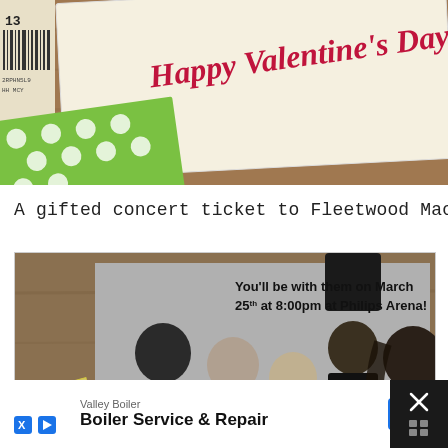[Figure (photo): Photo of a Valentine's Day card with 'Happy Valentine's Day!' written in cursive red text on cream background, with a green polka-dot envelope and a barcode visible, placed on a wooden surface.]
A gifted concert ticket to Fleetwood Mac...
[Figure (photo): Black and white photo of Fleetwood Mac band members (five people) with handwritten text overlay: 'You'll be with them on March 25th at 8:00pm at Philips Arena!' alongside a concert ticket stub, placed on a wooden surface with decorative paper.]
[Figure (screenshot): Advertisement banner at bottom of screen: Valley Boiler - Boiler Service & Repair - OPEN button. Dark background with close (X) button on right side.]